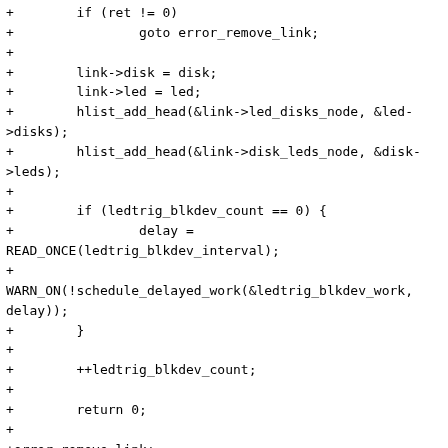+        if (ret != 0)
+                goto error_remove_link;
+
+        link->disk = disk;
+        link->led = led;
+        hlist_add_head(&link->led_disks_node, &led->disks);
+        hlist_add_head(&link->disk_leds_node, &disk->leds);
+
+        if (ledtrig_blkdev_count == 0) {
+                delay =
READ_ONCE(ledtrig_blkdev_interval);
+
WARN_ON(!schedule_delayed_work(&ledtrig_blkdev_work,
delay));
+        }
+
+        ++ledtrig_blkdev_count;
+
+        return 0;
+
+error_remove_link:
+        sysfs_remove_link(disk->dir, led->led_dev->name);
+error_put_disk:
+        blkdev_put_disk(disk);
+error_free_link:
+        kfree(link);
+error_return: